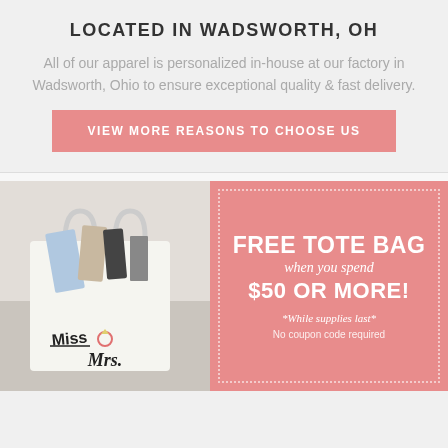LOCATED IN WADSWORTH, OH
All of our apparel is personalized in-house at our factory in Wadsworth, Ohio to ensure exceptional quality & fast delivery.
VIEW MORE REASONS TO CHOOSE US
[Figure (photo): White tote bag labeled 'Miss to Mrs.' with a ring graphic, filled with various items including photos and accessories]
FREE TOTE BAG when you spend $50 or MORE! *While supplies last* No coupon code required